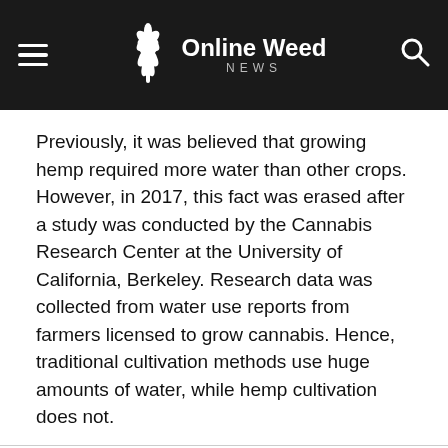Online Weed NEWS
Previously, it was believed that growing hemp required more water than other crops. However, in 2017, this fact was erased after a study was conducted by the Cannabis Research Center at the University of California, Berkeley. Research data was collected from water use reports from farmers licensed to grow cannabis. Hence, traditional cultivation methods use huge amounts of water, while hemp cultivation does not.
We use cookies on our website to give you the most relevant experience by remembering your preferences and repeat visits. By clicking “Accept All”, you consent to the use of ALL the cookies. However, you may visit "Cookie Settings" to provide a controlled consent.